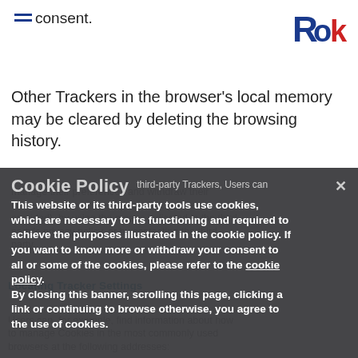consent.
[Figure (logo): Rok logo — stylized letters R, o, k in blue and red]
Other Trackers in the browser's local memory may be cleared by deleting the browsing history.
Cookie Policy
third-party Trackers, Users can manage their preferences and withdraw their consent via the related opt-out link (where provided), by using the means indicated in the third party's privacy policy, or by contacting the third party.
This website or its third-party tools use cookies, which are necessary to its functioning and required to achieve the purposes illustrated in the cookie policy. If you want to know more or withdraw your consent to all or some of the cookies, please refer to the cookie policy.
By closing this banner, scrolling this page, clicking a link or continuing to browse otherwise, you agree to the use of cookies.
Locating Tracker Settings
Users can, for example, find information about how to manage Cookies in the most commonly used browsers at the following addresses: